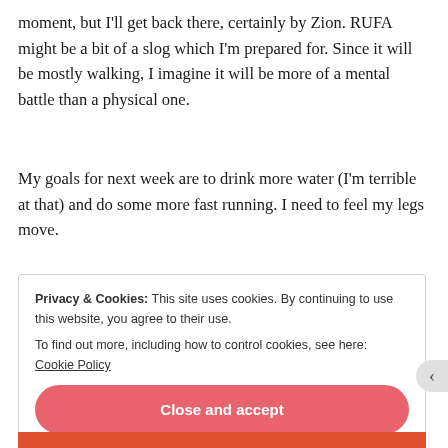moment, but I'll get back there, certainly by Zion. RUFA might be a bit of a slog which I'm prepared for. Since it will be mostly walking, I imagine it will be more of a mental battle than a physical one.
My goals for next week are to drink more water (I'm terrible at that) and do some more fast running. I need to feel my legs move.
Privacy & Cookies: This site uses cookies. By continuing to use this website, you agree to their use.
To find out more, including how to control cookies, see here: Cookie Policy
Close and accept